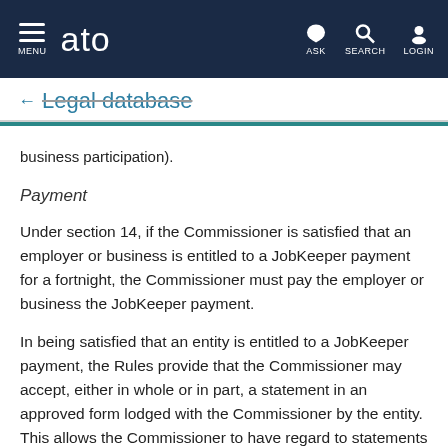MENU | ato | ASK | SEARCH | LOGIN
← Legal database
business participation).
Payment
Under section 14, if the Commissioner is satisfied that an employer or business is entitled to a JobKeeper payment for a fortnight, the Commissioner must pay the employer or business the JobKeeper payment.
In being satisfied that an entity is entitled to a JobKeeper payment, the Rules provide that the Commissioner may accept, either in whole or in part, a statement in an approved form lodged with the Commissioner by the entity. This allows the Commissioner to have regard to statements made by the entity in relation to its entitlement. Where a statement made by an entity in support of its claims to